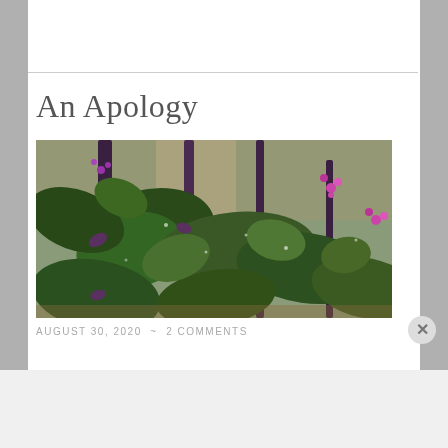An Apology
[Figure (photo): Close-up photograph of dark purple and green plant stems with broad leaves and small purple flowers, taken outdoors with natural lighting]
AUGUST 30, 2020  ~  2 COMMENTS
Advertisements
[Figure (other): DuckDuckGo advertisement banner with orange left section reading 'Search, browse, and email with more privacy. All in One Free App' and dark right section with DuckDuckGo duck logo]